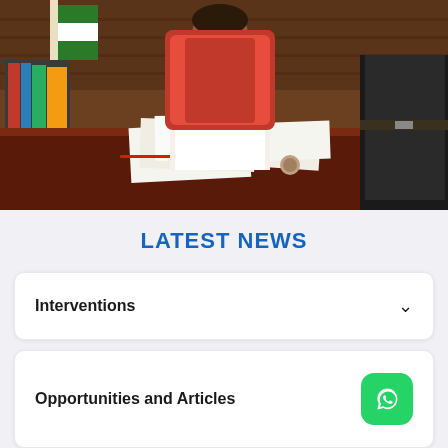[Figure (photo): A woman in a white outfit sitting behind a large dark wooden executive desk with papers on it, in an office setting with a red chair. A person in dark clothing stands to the right.]
LATEST NEWS
Interventions
Opportunities and Articles